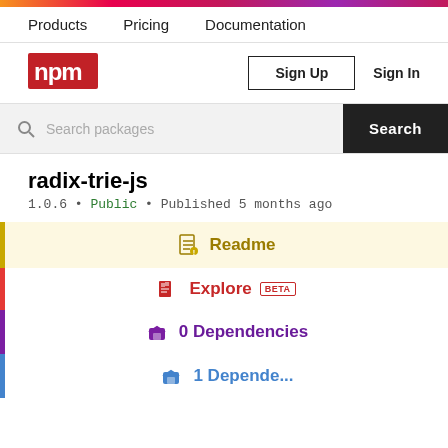npm gradient top bar
Products  Pricing  Documentation
[Figure (logo): npm logo in red square]
Sign Up   Sign In
Search packages  Search
radix-trie-js
1.0.6 • Public • Published 5 months ago
Readme
Explore BETA
0 Dependencies
1 Dependents